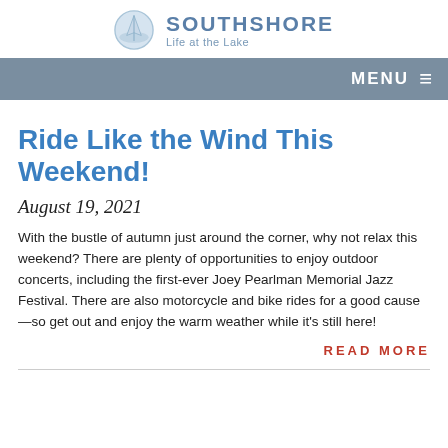SOUTHSHORE Life at the Lake
Ride Like the Wind This Weekend!
August 19, 2021
With the bustle of autumn just around the corner, why not relax this weekend? There are plenty of opportunities to enjoy outdoor concerts, including the first-ever Joey Pearlman Memorial Jazz Festival. There are also motorcycle and bike rides for a good cause—so get out and enjoy the warm weather while it's still here!
READ MORE